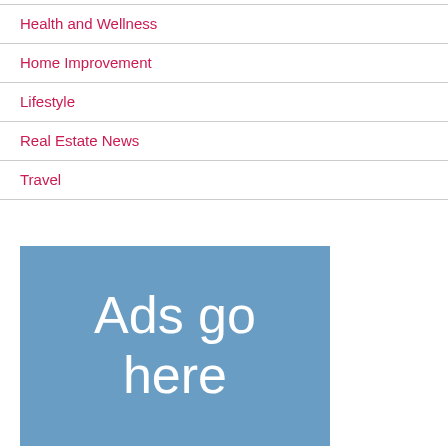Health and Wellness
Home Improvement
Lifestyle
Real Estate News
Travel
[Figure (other): Advertisement placeholder box with blue background and white text reading 'Ads go here']